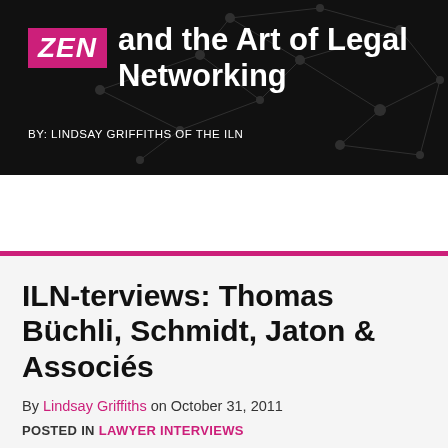[Figure (screenshot): Website header banner with dark black background and network graph node/line pattern. Contains pink 'ZEN' badge and white text reading 'ZEN and the Art of Legal Networking' with subtitle 'BY: LINDSAY GRIFFITHS OF THE ILN']
[Figure (screenshot): Gray navigation bar with a light-colored search box containing placeholder text 'Search...' and a search icon, plus a hamburger menu icon on the right]
ILN-terviews: Thomas Büchli, Schmidt, Jaton & Associés
By Lindsay Griffiths on October 31, 2011
POSTED IN LAWYER INTERVIEWS